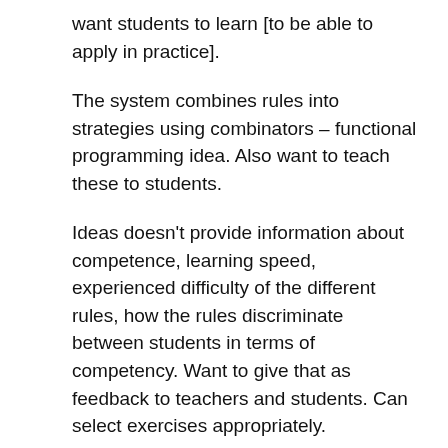want students to learn [to be able to apply in practice].
The system combines rules into strategies using combinators – functional programming idea. Also want to teach these to students.
Ideas doesn't provide information about competence, learning speed, experienced difficulty of the different rules, how the rules discriminate between students in terms of competency. Want to give that as feedback to teachers and students. Can select exercises appropriately.
The model